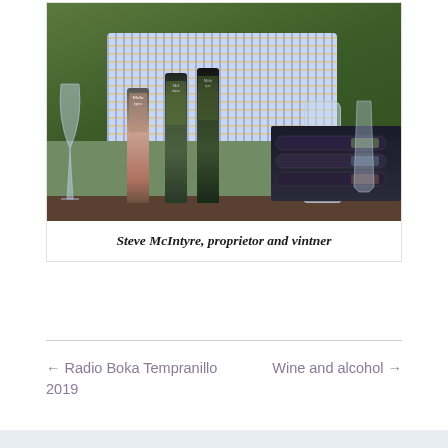[Figure (photo): Photo of Steve McIntyre standing behind a table with multiple wine bottles including McIntyre-labeled bottles, wine glasses, a decanter, and horizontal wine bottles. He is wearing a colorful plaid shirt with green foliage in the background.]
Steve McIntyre, proprietor and vintner
← Radio Boka Tempranillo 2019
Wine and alcohol →